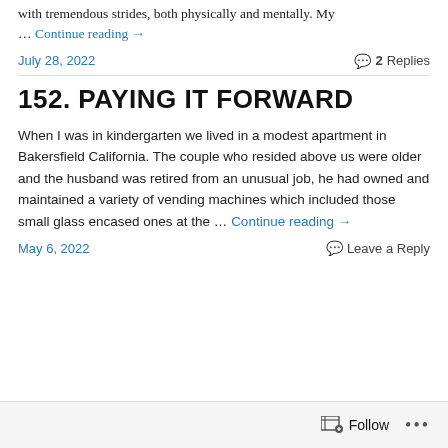with tremendous strides, both physically and mentally. My … Continue reading →
July 28, 2022
2 Replies
152. PAYING IT FORWARD
When I was in kindergarten we lived in a modest apartment in Bakersfield California. The couple who resided above us were older and the husband was retired from an unusual job, he had owned and maintained a variety of vending machines which included those small glass encased ones at the … Continue reading →
May 6, 2022
Leave a Reply
Follow ...